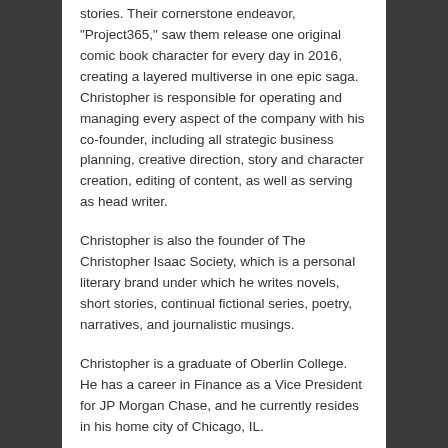stories. Their cornerstone endeavor, "Project365," saw them release one original comic book character for every day in 2016, creating a layered multiverse in one epic saga. Christopher is responsible for operating and managing every aspect of the company with his co-founder, including all strategic business planning, creative direction, story and character creation, editing of content, as well as serving as head writer.
Christopher is also the founder of The Christopher Isaac Society, which is a personal literary brand under which he writes novels, short stories, continual fictional series, poetry, narratives, and journalistic musings.
Christopher is a graduate of Oberlin College. He has a career in Finance as a Vice President for JP Morgan Chase, and he currently resides in his home city of Chicago, IL.
For more about Christopher please visit: www.thecreativeextreme.com